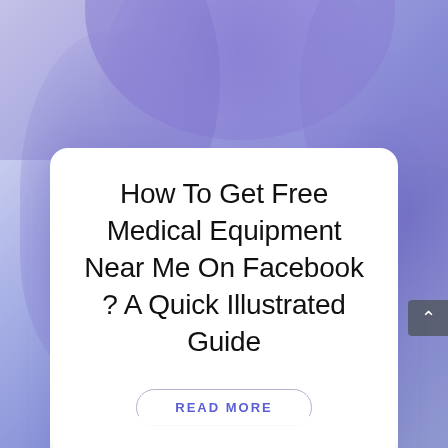[Figure (illustration): Abstract purple and lavender gradient background with overlapping blob/wave shapes in purple and periwinkle tones]
How To Get Free Medical Equipment Near Me On Facebook ? A Quick Illustrated Guide
READ MORE